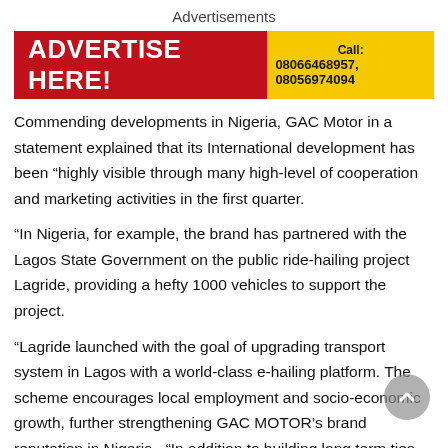Advertisements
[Figure (infographic): Advertisement banner with red section on left showing 'ADVERTISE HERE!' in bold white text, and yellow section on right showing 'Call: 08066468957, 08056974094' in bold black text.]
Commending developments in Nigeria, GAC Motor in a statement explained that its International development has been “highly visible through many high-level of cooperation and marketing activities in the first quarter.
“In Nigeria, for example, the brand has partnered with the Lagos State Government on the public ride-hailing project Lagride, providing a hefty 1000 vehicles to support the project.
“Lagride launched with the goal of upgrading transport system in Lagos with a world-class e-hailing platform. The scheme encourages local employment and socio-economic growth, further strengthening GAC MOTOR’s brand reputation in Nigeria. “In addition to building long term ties with the local